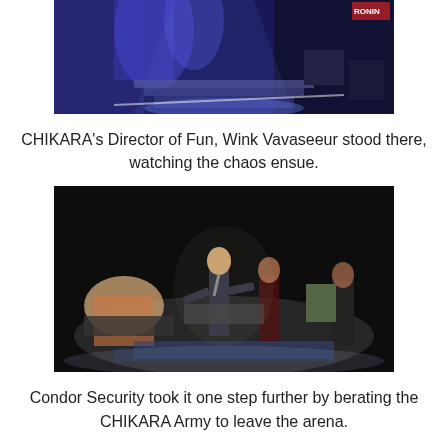[Figure (photo): A dimly lit stage with blue lighting, draped curtains, and steps visible in the background.]
CHIKARA's Director of Fun, Wink Vavaseeur stood there, watching the chaos ensue.
[Figure (photo): A dark arena scene with figures on stage including a person in a suit speaking and others around them, with items on the floor.]
Condor Security took it one step further by berating the CHIKARA Army to leave the arena.